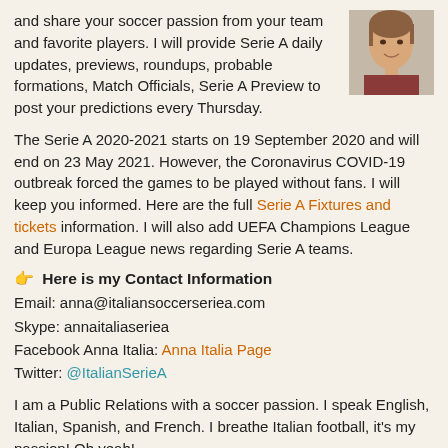and share your soccer passion from your team and favorite players. I will provide Serie A daily updates, previews, roundups, probable formations, Match Officials, Serie A Preview to post your predictions every Thursday.
[Figure (photo): Portrait photo of a woman smiling, positioned in the top-right corner]
The Serie A 2020-2021 starts on 19 September 2020 and will end on 23 May 2021. However, the Coronavirus COVID-19 outbreak forced the games to be played without fans. I will keep you informed. Here are the full Serie A Fixtures and tickets information. I will also add UEFA Champions League and Europa League news regarding Serie A teams.
👉 Here is my Contact Information
Email: anna@italiansoccerseriea.com
Skype: annaitaliaseriea
Facebook Anna Italia: Anna Italia Page
Twitter: @ItalianSerieA
I am a Public Relations with a soccer passion. I speak English, Italian, Spanish, and French. I breathe Italian football, it's my passion! Oh yeah!